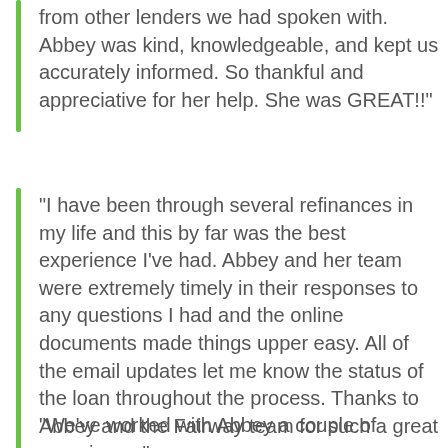from other lenders we had spoken with. Abbey was kind, knowledgeable, and kept us accurately informed. So thankful and appreciative for her help. She was GREAT!!
“I have been through several refinances in my life and this by far was the best experience I’ve had. Abbey and her team were extremely timely in their responses to any questions I had and the online documents made things upper easy. All of the email updates let me know the status of the loan throughout the process. Thanks to Abbey and the Fairway team for such a great experience.”
“We’ve worked with Abbey a couple of